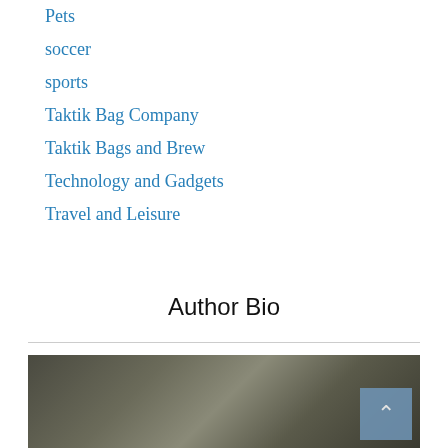Pets
soccer
sports
Taktik Bag Company
Taktik Bags and Brew
Technology and Gadgets
Travel and Leisure
Author Bio
[Figure (photo): Dark, muted background photo (author bio image placeholder), with a scroll-to-top button overlay in the bottom right corner.]